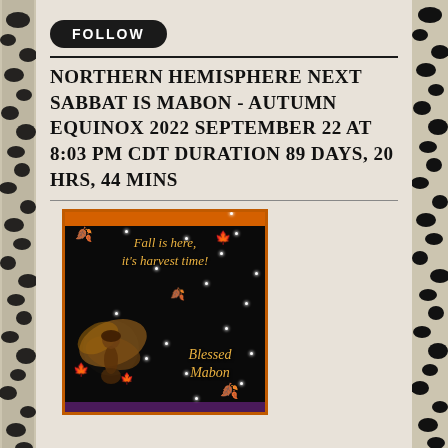FOLLOW
NORTHERN HEMISPHERE NEXT SABBAT IS MABON - AUTUMN EQUINOX 2022 SEPTEMBER 22 AT 8:03 PM CDT DURATION 89 DAYS, 20 HRS, 44 MINS
[Figure (illustration): Decorative image on black background with orange border at top. Text reads 'Fall is here, it's harvest time!' in gold italic script at top, 'Blessed Mabon' in gold italic script at bottom right. Autumn fairy figure on left side, golden autumn leaves and white sparkle stars scattered throughout.]